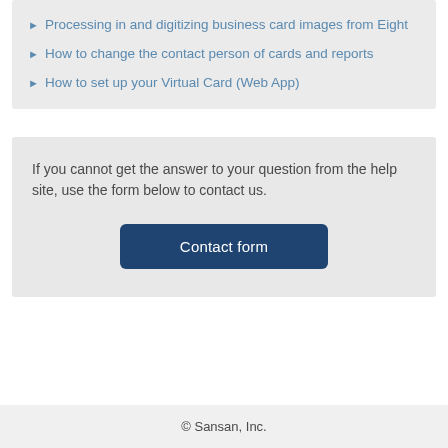Processing in and digitizing business card images from Eight
How to change the contact person of cards and reports
How to set up your Virtual Card (Web App)
If you cannot get the answer to your question from the help site, use the form below to contact us.
Contact form
© Sansan, Inc.